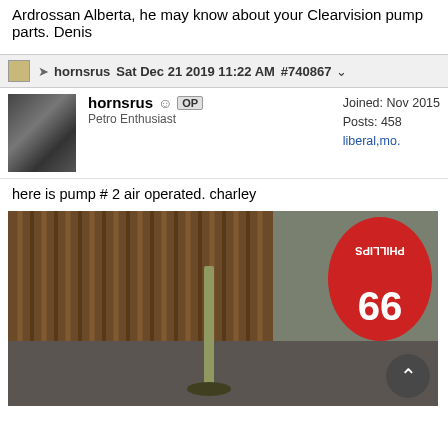Ardrossan Alberta, he may know about your Clearvision pump parts. Denis
hornsrus  Sat Dec 21 2019 11:22 AM  #740867
hornsrus OP
Petro Enthusiast
Joined: Nov 2015
Posts: 458
liberal,mo.
here is pump # 2 air operated. charley
[Figure (photo): Outdoor photo showing an air-operated pump on a concrete base, with a corrugated metal fence in the background and an upside-down Phillips 99 sign visible on the right side.]